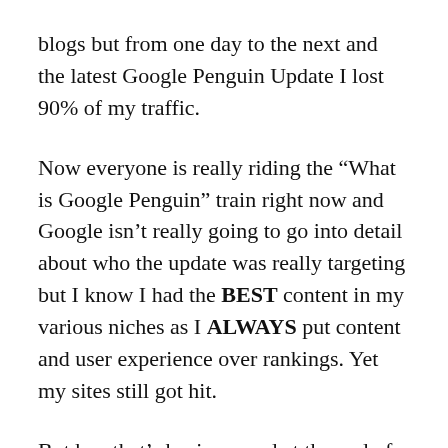blogs but from one day to the next and the latest Google Penguin Update I lost 90% of my traffic.
Now everyone is really riding the “What is Google Penguin” train right now and Google isn’t really going to go into detail about who the update was really targeting but I know I had the BEST content in my various niches as I ALWAYS put content and user experience over rankings. Yet my sites still got hit.
But hey that’s business and at the end of the day Google can do what ever they want to do. Instead of rolling in my own pity I decided to do something about it and restructure by